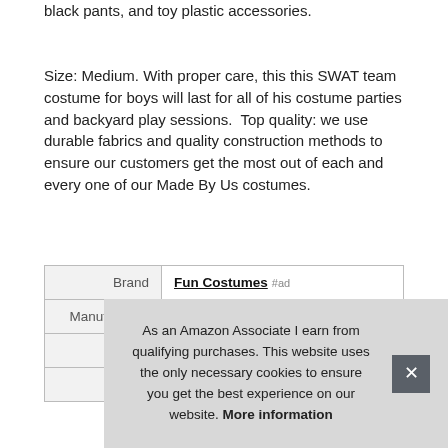SWAT team jacket shirt, a police helmet with visor, matching black pants, and toy plastic accessories.
Size: Medium. With proper care, this this SWAT team costume for boys will last for all of his costume parties and backyard play sessions. Top quality: we use durable fabrics and quality construction methods to ensure our customers get the most out of each and every one of our Made By Us costumes.
|  |  |
| --- | --- |
| Brand | Fun Costumes #ad |
| Manufacturer | Fun Costumes #ad |
| Weight | 1.63 Pounds |
| P |  |
As an Amazon Associate I earn from qualifying purchases. This website uses the only necessary cookies to ensure you get the best experience on our website. More information